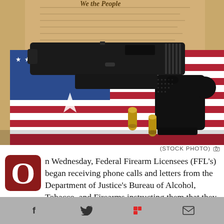[Figure (photo): A black semi-automatic handgun (Glock-style pistol) resting on an American flag with two brass bullet cartridges visible, with a document resembling the U.S. Constitution in the background.]
(STOCK PHOTO)
On Wednesday, Federal Firearm Licensees (FFL's) began receiving phone calls and letters from the Department of Justice's Bureau of Alcohol, Tobacco, and Firearms instructing them that they could no longer accept Alabama Concealed Carry Permits (CCPs) issued by Alabama's Sheriffs as an alternative to completion of a National Instant Criminal Background Check System (NICS) check or after a NICS